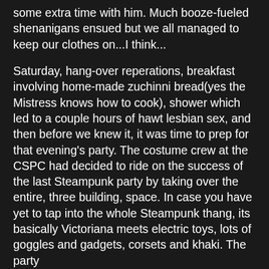some extra time with him. Much booze-fueled shenanigans ensued but we all managed to keep our clothes on...I think...
Saturday, hang-over reperations, breakfast involving home-made zuchinni bread(yes the Mistress knows how to cook), shower which led to a couple hours of hawt lesbian sex, and then before we knew it, it was time to prep for that evening's party. The costume crew at the CSPC had decided to ride on the success of the last Steampunk party by taking over the entire, three building, space. In case you have yet to tap into the whole Steampunk thang, its basically Victoriana meets electric toys, lots of goggles and gadgets, corsets and khaki. The party